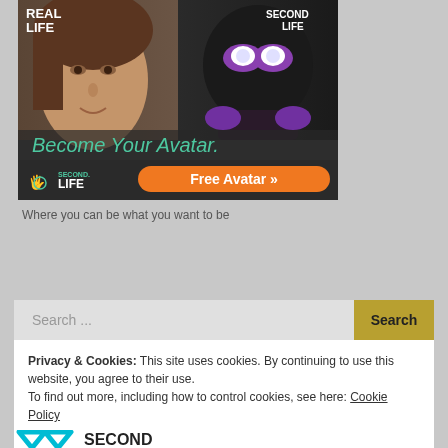[Figure (illustration): Second Life advertisement showing split image: left half shows a real woman's face labeled 'REAL LIFE', right half shows a dark robotic avatar with purple glowing eyes labeled 'SECOND LIFE'. Below reads 'Become Your Avatar.' with Second Life logo and orange 'Free Avatar >>' button.]
Where you can be what you want to be
Search ...
Privacy & Cookies: This site uses cookies. By continuing to use this website, you agree to their use.
To find out more, including how to control cookies, see here: Cookie Policy
Close and accept
[Figure (logo): Partial logo at bottom: cyan/blue W shape and dark text 'SECOND' partially visible]